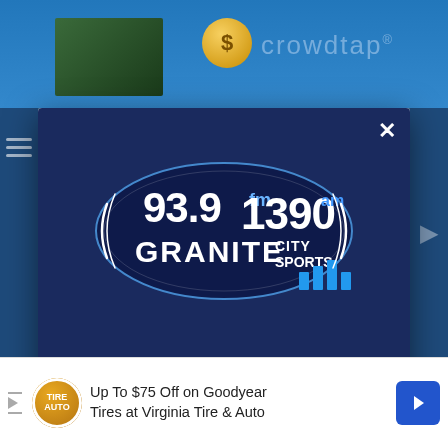[Figure (screenshot): Screenshot of a webpage showing a modal popup for 93.9 FM / 1390 AM Granite City Sports radio station. The modal has a dark navy header with the station logo, a light gray body with download CTA text, a dark blue button reading 'GET OUR FREE MOBILE APP', and an 'Also listen on: amazon alexa' line. Behind the modal is the Crowdtap website. At the bottom is an advertisement for Goodyear Tires at Virginia Tire & Auto.]
DOWNLOAD THE 1390 GRANITE CITY SPORTS MOBILE APP
GET OUR FREE MOBILE APP
Also listen on: amazon alexa
Up To $75 Off on Goodyear Tires at Virginia Tire & Auto